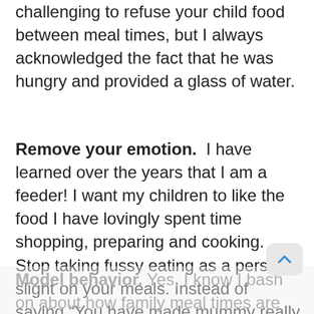challenging to refuse your child food between meal times, but I always acknowledged the fact that he was hungry and provided a glass of water.
Remove your emotion.  I have learned over the years that I am a feeder! I want my children to like the food I have lovingly spent time shopping, preparing and cooking.  Stop taking fussy eating as a personal slight on your meals. Instead of saying “You have made mummy really happy by eating that”, try “It is great that you tried the taco’s”.
Model behavior.  Yes, I know I bash on about how family meal times are so important, but I